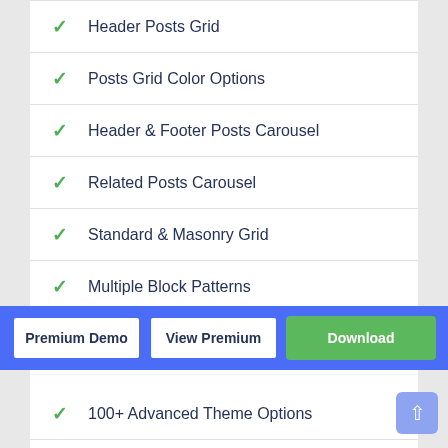Header Posts Grid
Posts Grid Color Options
Header & Footer Posts Carousel
Related Posts Carousel
Standard & Masonry Grid
Multiple Block Patterns
Custom Stage Panels
100+ Advanced Theme Options